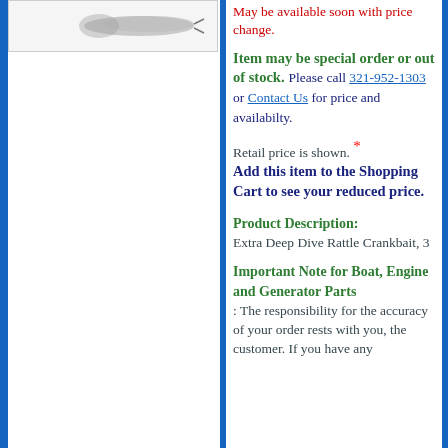[Figure (photo): Product image of a fishing lure (Extra Deep Dive Rattle Crankbait) shown partially at the top left of the page]
May be available soon with price change.
Item may be special order or out of stock. Please call 321-952-1303 or Contact Us for price and availabilty.
Retail price is shown. * Add this item to the Shopping Cart to see your reduced price.
Product Description:
Extra Deep Dive Rattle Crankbait, 3
Important Note for Boat, Engine and Generator Parts
The responsibility for the accuracy of your order rests with you, the customer. If you have any